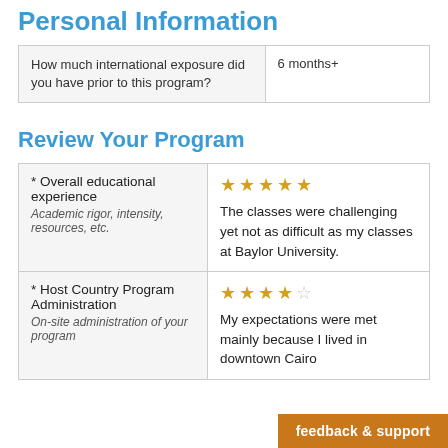Personal Information
| Question | Answer |
| --- | --- |
| How much international exposure did you have prior to this program? | 6 months+ |
Review Your Program
| Category | Rating & Review |
| --- | --- |
| * Overall educational experience
Academic rigor, intensity, resources, etc. | ★★★★★
The classes were challenging yet not as difficult as my classes at Baylor University. |
| * Host Country Program Administration
On-site administration of your program | ★★★★☆
My expectations were met mainly because I lived in downtown Cairo |
feedback & support